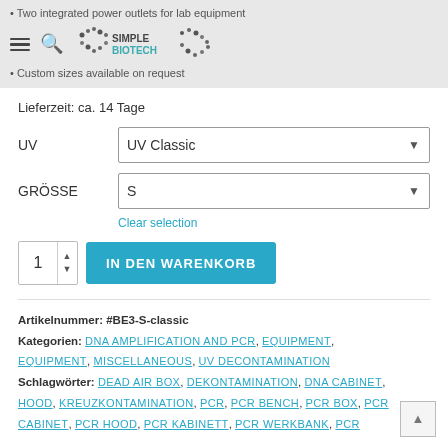Two integrated power outlets for lab equipment
SimpleBiotech logo header
Custom sizes available on request
Lieferzeit: ca. 14 Tage
UV — UV Classic (dropdown)
GRÖSSE — S (dropdown)
Clear selection
1  IN DEN WARENKORB
Artikelnummer: #BE3-S-classic
Kategorien: DNA AMPLIFICATION AND PCR, EQUIPMENT, EQUIPMENT, MISCELLANEOUS, UV DECONTAMINATION
Schlagwörter: DEAD AIR BOX, DEKONTAMINATION, DNA CABINET, HOOD, KREUZKONTAMINATION, PCR, PCR BENCH, PCR BOX, PCR CABINET, PCR HOOD, PCR KABINETT, PCR WERKBANK, PCR